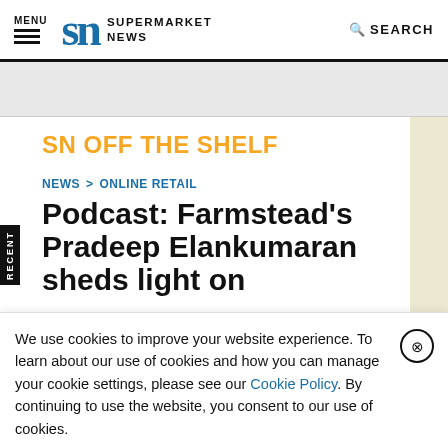MENU | SN SUPERMARKET NEWS | SEARCH
SN OFF THE SHELF
NEWS > ONLINE RETAIL
Podcast: Farmstead's Pradeep Elankumaran sheds light on
We use cookies to improve your website experience. To learn about our use of cookies and how you can manage your cookie settings, please see our Cookie Policy. By continuing to use the website, you consent to our use of cookies.